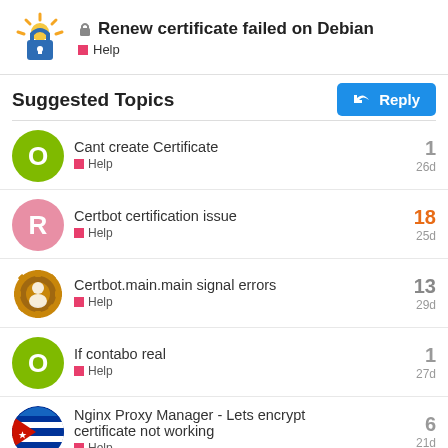🔒 Renew certificate failed on Debian — Help
Suggested Topics
Cant create Certificate — Help — 1 — 26d
Certbot certification issue — Help — 18 — 25d
Certbot.main.main signal errors — Help — 13 — 29d
If contabo real — Help — 1 — 27d
Nginx Proxy Manager - Lets encrypt certificate not working — Help — 6 — 21d